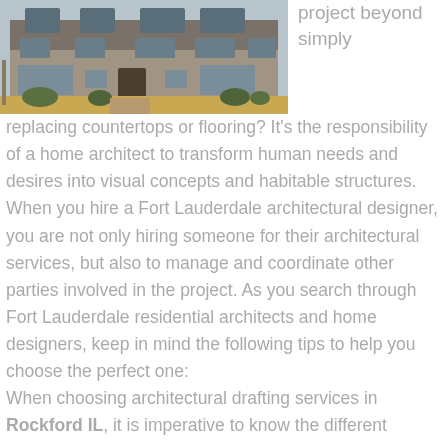[Figure (photo): Exterior photograph of a residential house with stone/brick facade, multiple windows, and a front yard with dry grass and small shrubs.]
project beyond simply replacing countertops or flooring? It's the responsibility of a home architect to transform human needs and desires into visual concepts and habitable structures. When you hire a Fort Lauderdale architectural designer, you are not only hiring someone for their architectural services, but also to manage and coordinate other parties involved in the project. As you search through Fort Lauderdale residential architects and home designers, keep in mind the following tips to help you choose the perfect one: When choosing architectural drafting services in Rockford IL, it is imperative to know the different